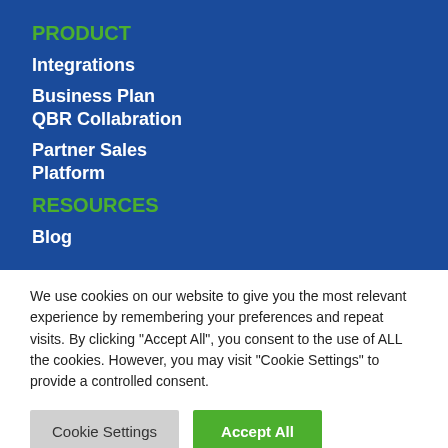PRODUCT
Integrations
Business Plan
QBR Collabration
Partner Sales
Platform
RESOURCES
Blog
We use cookies on our website to give you the most relevant experience by remembering your preferences and repeat visits. By clicking "Accept All", you consent to the use of ALL the cookies. However, you may visit "Cookie Settings" to provide a controlled consent.
Cookie Settings | Accept All